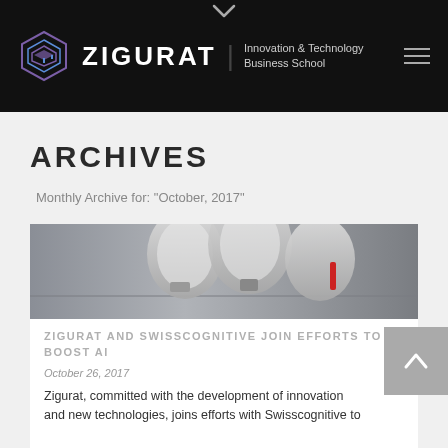ZIGURAT | Innovation & Technology Business School
ARCHIVES
Monthly Archive for: 'October, 2017'
[Figure (photo): Close-up photo of a white robotic arm or mechanical device with red accents, gray background]
ZIGURAT AND SWISSCOGNITIVE JOIN EFFORTS TO BOOST AI
October 26, 2017
Zigurat, committed with the development of innovation and new technologies, joins efforts with Swisscognitive to